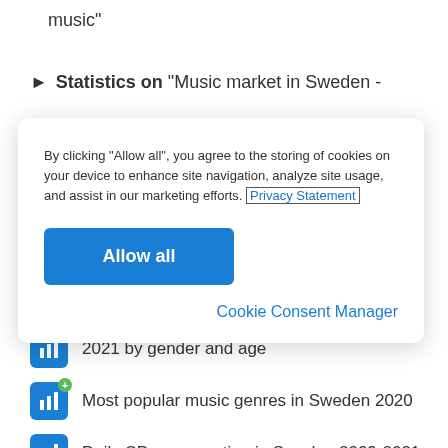music"
Statistics on "Music market in Sweden -
By clicking “Allow all”, you agree to the storing of cookies on your device to enhance site navigation, analyze site usage, and assist in our marketing efforts. Privacy Statement
Allow all
Cookie Consent Manager
2021 by gender and age
Most popular music genres in Sweden 2020
Daily CD consumption in Sweden 2009-2021
Frequency of listening to music among children in Sweden 2018-...